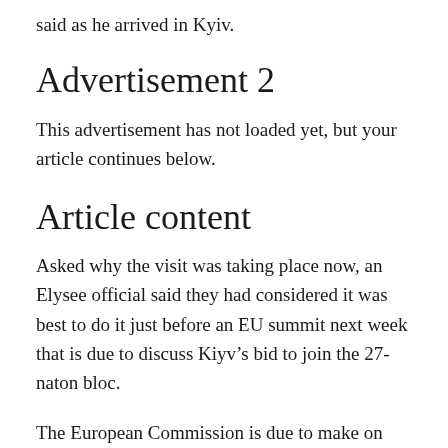said as he arrived in Kyiv.
Advertisement 2
This advertisement has not loaded yet, but your article continues below.
Article content
Asked why the visit was taking place now, an Elysee official said they had considered it was best to do it just before an EU summit next week that is due to discuss Kiyv’s bid to join the 27-naton bloc.
The European Commission is due to make on